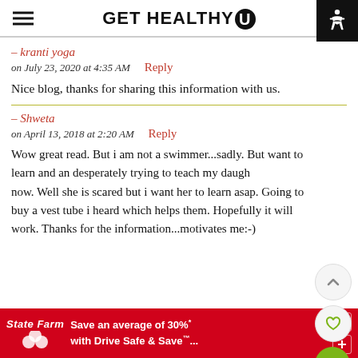GET HEALTHY U
— kranti yoga
on July 23, 2020 at 4:35 AM   Reply
Nice blog, thanks for sharing this information with us.
— Shweta
on April 13, 2018 at 2:20 AM   Reply
Wow great read. But i am not a swimmer...sadly. But want to learn and an desperately trying to teach my daughter now. Well she is scared but i want her to learn asap. Going to buy a vest tube i heard which helps them. Hopefully it will work. Thanks for the information...motivates me:-)
[Figure (infographic): State Farm advertisement banner: Save an average of 30%* with Drive Safe & Save™...]